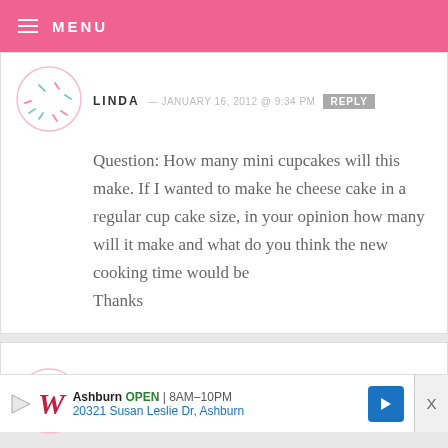MENU
LINDA — JANUARY 16, 2012 @ 9:34 PM  REPLY
Question: How many mini cupcakes will this make. If I wanted to make he cheese cake in a regular cup cake size, in your opinion how many will it make and what do you think the new cooking time would be
Thanks
EMILY K — JANUARY 14, 2012 @ 8:19 PM  REPLY
[Figure (infographic): Walgreens advertisement banner: Ashburn OPEN 8AM-10PM, 20321 Susan Leslie Dr, Ashburn]